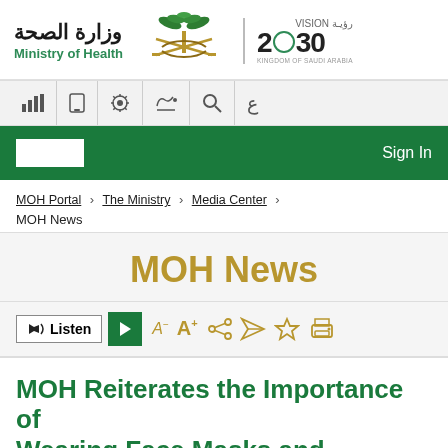[Figure (logo): Saudi Ministry of Health logo with Arabic text, national emblem, and Vision 2030 logo]
[Figure (screenshot): Website toolbar with accessibility and navigation icons: bar chart, mobile, settings, hearing, search, Arabic letter]
[Figure (screenshot): Green navigation bar with white input box on left and Sign In text on right]
MOH Portal > The Ministry > Media Center > MOH News
MOH News
[Figure (screenshot): Toolbar with Listen button, play button, font size controls (A- A+), share, send, bookmark, and print icons]
MOH Reiterates the Importance of Wearing Face Masks and Keeping